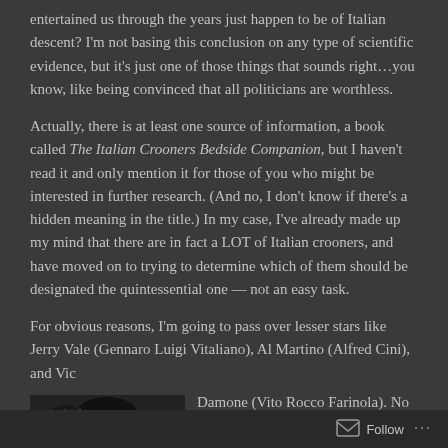entertained us through the years just happen to be of Italian descent? I'm not basing this conclusion on any type of scientific evidence, but it's just one of those things that sounds right…you know, like being convinced that all politicians are worthless.
Actually, there is at least one source of information, a book called The Italian Crooners Bedside Companion, but I haven't read it and only mention it for those of you who might be interested in further research. (And no, I don't know if there's a hidden meaning in the title.) In my case, I've already made up my mind that there are in fact a LOT of Italian crooners, and have moved on to trying to determine which of them should be designated the quintessential one — not an easy task.
For obvious reasons, I'm going to pass over lesser stars like Jerry Vale (Gennaro Luigi Vitaliano), Al Martino (Alfred Cini), and Vic Damone (Vito Rocco Farinola). No offense to their devoted fans, but those
[Figure (photo): Black and white photograph of a man with dark hair, partially visible, cropped]
Follow